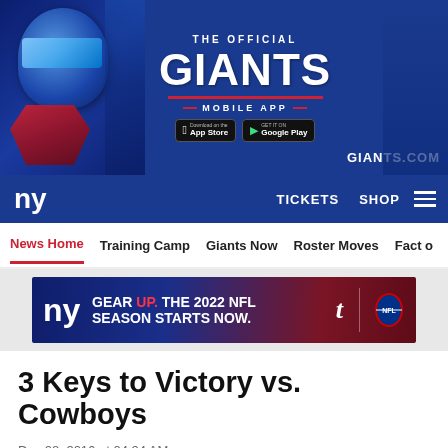[Figure (illustration): New York Giants official mobile app advertisement banner with player in blue helmet and Giants branding, showing App Store and Google Play download buttons and GIANTS.COM text]
THE OFFICIAL GIANTS MOBILE APP | GIANTS.COM | TICKETS | SHOP
[Figure (infographic): NY Giants gear up banner ad: GEAR UP. THE 2022 NFL SEASON STARTS NOW. with NY Giants logo and NFL shield logo]
3 Keys to Victory vs. Cowboys
Dec 08, 2016 at 04:24 AM